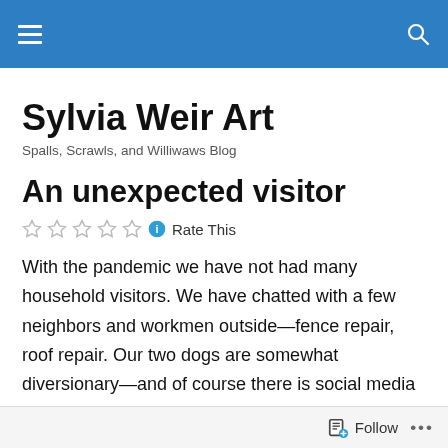Navigation bar with hamburger menu and search icon
Sylvia Weir Art
Spalls, Scrawls, and Williwaws Blog
An unexpected visitor
Rate This
With the pandemic we have not had many household visitors. We have chatted with a few neighbors and workmen outside—fence repair, roof repair. Our two dogs are somewhat diversionary—and of course there is social media and the internet—such as we have here.
Follow ...